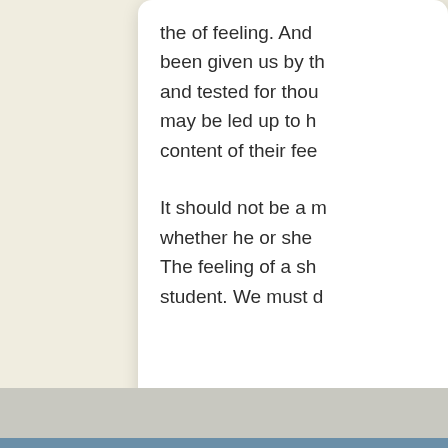the of feeling. And been given us by th and tested for thou may be led up to h content of their fee
It should not be a m whether he or she The feeling of a sh student. We must d